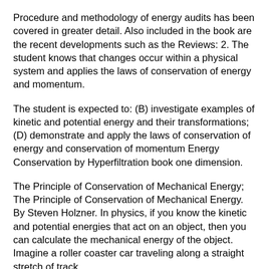Procedure and methodology of energy audits has been covered in greater detail. Also included in the book are the recent developments such as the Reviews: 2. The student knows that changes occur within a physical system and applies the laws of conservation of energy and momentum.
The student is expected to: (B) investigate examples of kinetic and potential energy and their transformations; (D) demonstrate and apply the laws of conservation of energy and conservation of momentum Energy Conservation by Hyperfiltration book one dimension.
The Principle of Conservation of Mechanical Energy; The Principle of Conservation of Mechanical Energy. By Steven Holzner. In physics, if you know the kinetic and potential energies that act on an object, then you can calculate the mechanical energy of the object. Imagine a roller coaster car traveling along a straight stretch of track.
02 ENERGY CONSERVATION HANDBOOK ENERGY CONSERVATION HANDBOOK 03 We